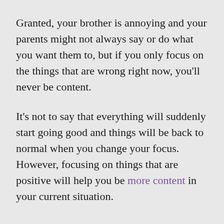Granted, your brother is annoying and your parents might not always say or do what you want them to, but if you only focus on the things that are wrong right now, you'll never be content.
It's not to say that everything will suddenly start going good and things will be back to normal when you change your focus. However, focusing on things that are positive will help you be more content in your current situation.